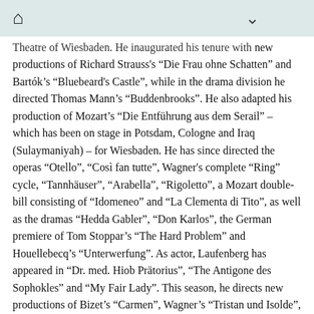[home icon] [chevron/down icon]
Theatre of Wiesbaden. He inaugurated his tenure with new productions of Richard Strauss's “Die Frau ohne Schatten” and Bartók’s “Bluebeard's Castle”, while in the drama division he directed Thomas Mann’s “Buddenbrooks”. He also adapted his production of Mozart’s “Die Entführung aus dem Serail” – which has been on stage in Potsdam, Cologne and Iraq (Sulaymaniyah) – for Wiesbaden. He has since directed the operas “Otello”, “Così fan tutte”, Wagner's complete “Ring” cycle, “Tannhäuser”, “Arabella”, “Rigoletto”, a Mozart double-bill consisting of “Idomeneo” and “La Clementa di Tito”, as well as the dramas “Hedda Gabler”, “Don Karlos”, the German premiere of Tom Stoppar’s “The Hard Problem” and Houellebecq’s “Unterwerfung”. As actor, Laufenberg has appeared in “Dr. med. Hiob Prätorius”, “The Antigone des Sophokles” and “My Fair Lady”. This season, he directs new productions of Bizet’s “Carmen”, Wagner’s “Tristan und Isolde”, as well as Heinrich von Kleist’s play “Der zebrochne Krug”. During